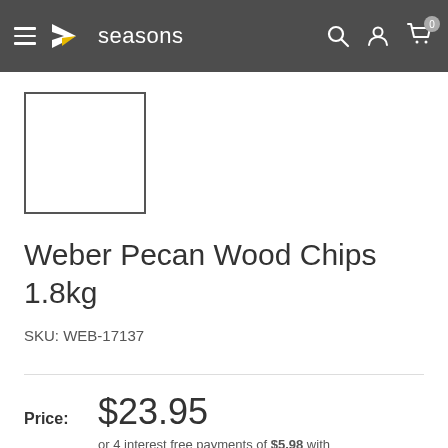4seasons — navigation bar with hamburger menu, logo, search, account, and cart icons
[Figure (photo): Product image placeholder — empty white square with dark border]
Weber Pecan Wood Chips 1.8kg
SKU: WEB-17137
Price: $23.95
or 4 interest free payments of $5.98 with